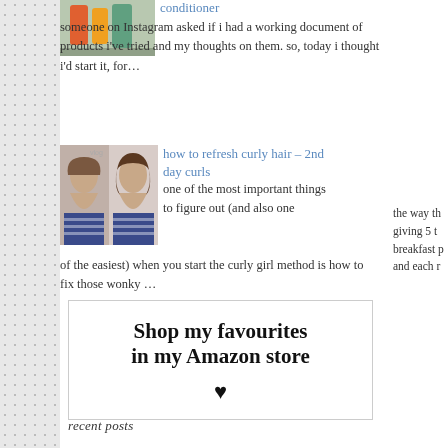[Figure (photo): Thumbnail image of hair/beauty products]
conditioner
someone on Instagram asked if i had a working document of products i've tried and my thoughts on them. so, today i thought i'd start it, for...
[Figure (photo): Thumbnail showing before/after curly hair photos]
how to refresh curly hair – 2nd day curls
one of the most important things to figure out (and also one of the easiest) when you start the curly girl method is how to fix those wonky ...
the way th giving 5 t breakfast p and each r
[Figure (infographic): Shop my favourites in my Amazon store box with heart]
recent posts